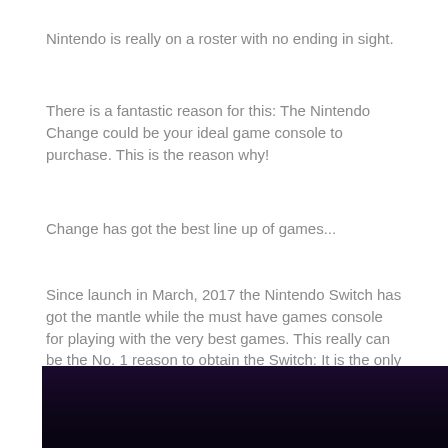Nintendo is really on a roster with no ending in sight.
There is a fantastic reason for this: The Nintendo Change could be your ideal game console to purchase. This is the reason why!
Change has got the best line up of games...
Since launch in March, 2017 the Nintendo Switch has got the mantle while the must have games console for playing with the very best games. This really can be the No. 1 reason to obtain the Switch: It is the only real place to play with the greatest available games.
[Figure (photo): Dark image, mostly black with dark purple/blue gradient at the bottom of the page]